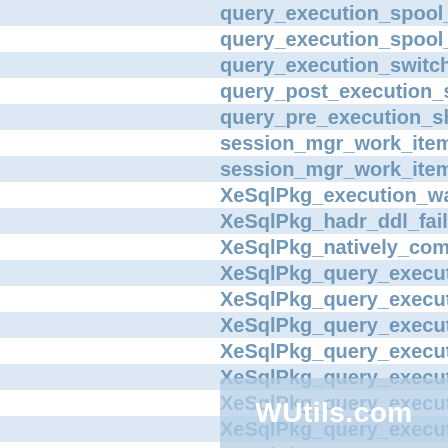query_execution_spool_o
query_execution_spool_se
query_execution_switch_p
query_post_execution_sho
query_pre_execution_show
session_mgr_work_item_e
session_mgr_work_item_s
XeSqlPkg_execution_warn
XeSqlPkg_hadr_ddl_failove
XeSqlPkg_natively_compil
XeSqlPkg_query_executio
XeSqlPkg_query_executio
XeSqlPkg_query_executio
XeSqlPkg_query_executio
XeSqlPkg_query_executio
XeSqlPkg_query_executio
XeSqlPkg_query_executio
XeSqlPkg_query_executio
XeSqlPkg_query_executio
XeSqlPkg_quer_executio